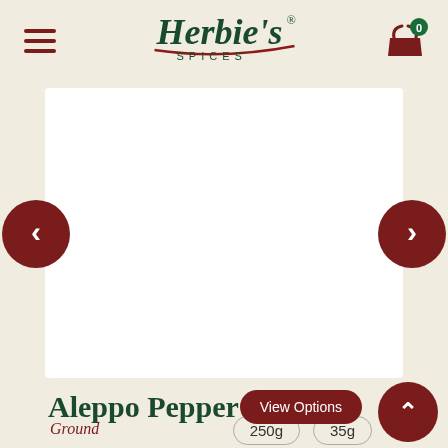[Figure (logo): Herbie's Spices logo with cursive green text and red underline]
[Figure (other): Hamburger menu icon (three dark red horizontal lines)]
[Figure (other): Shopping cart icon in dark red with a green badge showing 0]
[Figure (photo): Product image area (white rectangle) for Aleppo Pepper]
[Figure (other): Left navigation arrow button (dark red circle with white left chevron)]
[Figure (other): Right navigation arrow button (dark red circle with white right chevron)]
Aleppo Pepper
View Options
[Figure (other): Up/scroll arrow button (dark red circle with white up chevron)]
Ground
250g
35g